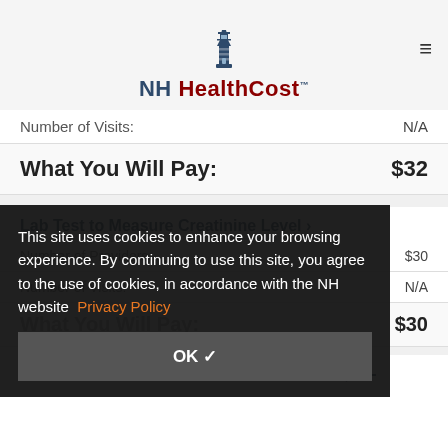NH HealthCost
|  |  |
| --- | --- |
| Number of Visits: | N/A |
| What You Will Pay: | $32 |
Lab Test to Measure Creatinine Level >
|  |  |
| --- | --- |
| Number of Providers: | $30 |
| Number of Visits: | N/A |
| What You Will Pay: | $30 |
New Patient Preventive Care Visit for Adult, 40-
This site uses cookies to enhance your browsing experience. By continuing to use this site, you agree to the use of cookies, in accordance with the NH website  Privacy Policy
OK ✓